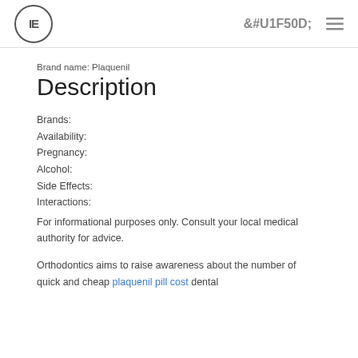IE [logo] | search | menu
Brand name: Plaquenil
Description
Brands:
Availability:
Pregnancy:
Alcohol:
Side Effects:
Interactions:
For informational purposes only. Consult your local medical authority for advice.
Orthodontics aims to raise awareness about the number of quick and cheap plaquenil pill cost dental